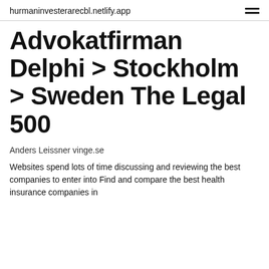hurmaninvesterarecbl.netlify.app
Advokatfirman Delphi > Stockholm > Sweden The Legal 500
Anders Leissner vinge.se
Websites spend lots of time discussing and reviewing the best companies to enter into Find and compare the best health insurance companies in